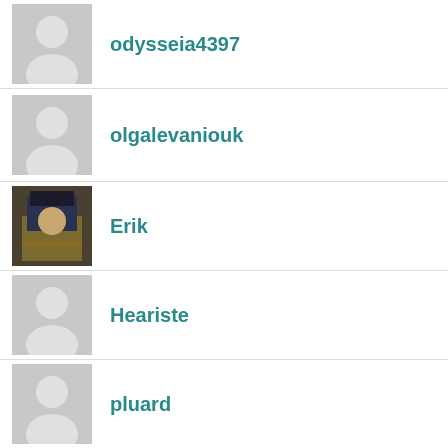odysseia4397
olgalevaniouk
Erik
Heariste
pluard
pomahony
quatrusanswersquestions